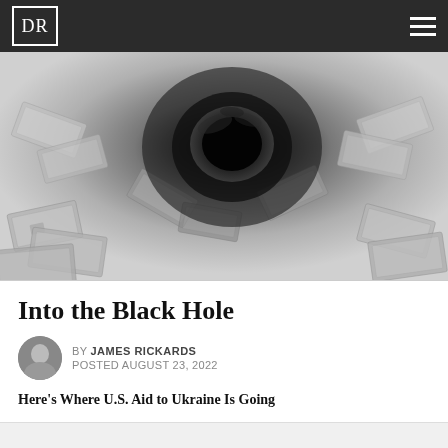DR
[Figure (photo): Black and white photo of US dollar bills swirling into a black hole vortex in the center]
Into the Black Hole
BY JAMES RICKARDS
POSTED AUGUST 23, 2022
Here's Where U.S. Aid to Ukraine Is Going